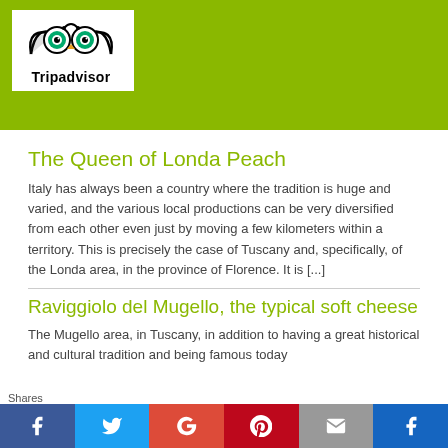[Figure (logo): Tripadvisor logo with owl icon on white box inside green banner]
The Queen of Londa Peach
Italy has always been a country where the tradition is huge and varied, and the various local productions can be very diversified from each other even just by moving a few kilometers within a territory. This is precisely the case of Tuscany and, specifically, of the Londa area, in the province of Florence. It is [...]
Raviggiolo del Mugello, the typical soft cheese
The Mugello area, in Tuscany, in addition to having a great historical and cultural tradition and being famous today
Shares